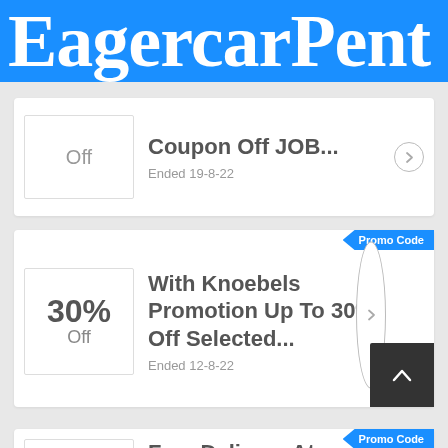EagercarPent
Coupon Off JOB... Ended 19-8-22
With Knoebels Promotion Up To 30% Off Selected... Ended 12-8-22
Free Delivery At